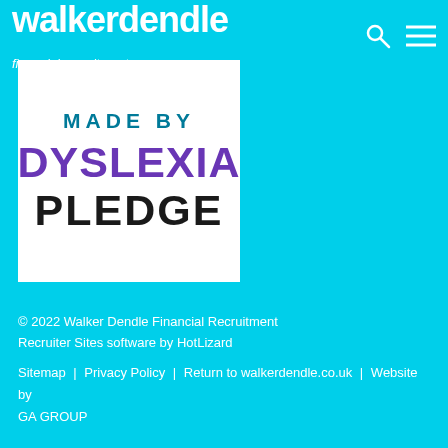walkerdendle financial recruitment
[Figure (logo): Made By Dyslexia Pledge badge — white square with 'MADE BY' in teal uppercase, 'DYSLEXIA' in bold purple uppercase, and 'PLEDGE' in bold dark uppercase]
© 2022 Walker Dendle Financial Recruitment Recruiter Sites software by HotLizard | Sitemap | Privacy Policy | Return to walkerdendle.co.uk | Website by GA GROUP